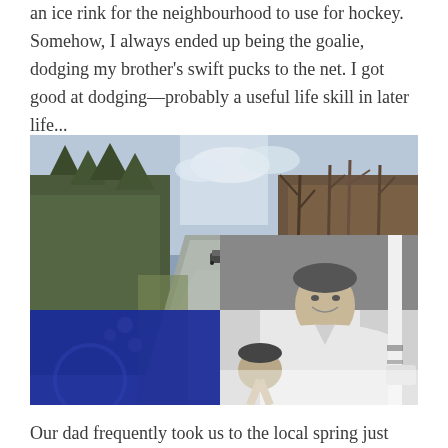an ice rink for the neighbourhood to use for hockey. Somehow, I always ended up being the goalie, dodging my brother's swift pucks to the net. I got good at dodging—probably a useful life skill in later life...
[Figure (photo): A composite image showing a long straight forest road receding into the distance with a car visible, overlaid with a black-and-white photograph of a smiling man holding a hockey stick, with a blue rectangular band across the bottom portion of the image.]
Our dad frequently took us to the local spring just